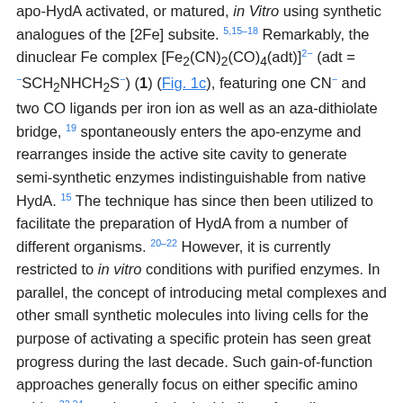apo-HydA activated, or matured, in vitro using synthetic analogues of the [2Fe] subsite. 5,15–18 Remarkably, the dinuclear Fe complex [Fe2(CN)2(CO)4(adt)]2− (adt = −SCH2NHCH2S−) (1) (Fig. 1c), featuring one CN− and two CO ligands per iron ion as well as an aza-dithiolate bridge, 19 spontaneously enters the apo-enzyme and rearranges inside the active site cavity to generate semi-synthetic enzymes indistinguishable from native HydA. 15 The technique has since then been utilized to facilitate the preparation of HydA from a number of different organisms. 20–22 However, it is currently restricted to in vitro conditions with purified enzymes. In parallel, the concept of introducing metal complexes and other small synthetic molecules into living cells for the purpose of activating a specific protein has seen great progress during the last decade. Such gain-of-function approaches generally focus on either specific amino acids, 23,24 or alternatively the binding of small molecules to an allosteric site. 25 Moreover, the incorporation of exogenous cofactors into apo-proteins has been achieved in the case of heme- and flavoproteins. However, the latter approaches utilized genetic modifications to the